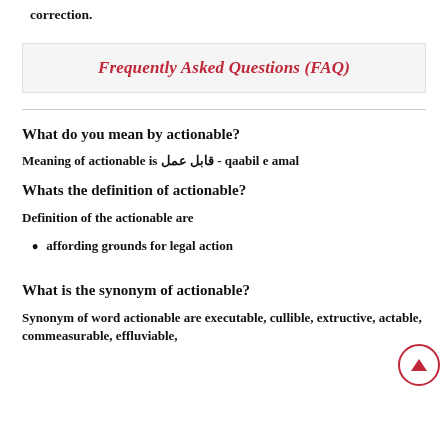correction.
Frequently Asked Questions (FAQ)
What do you mean by actionable?
Meaning of actionable is قابل عمل - qaabil e amal
Whats the definition of actionable?
Definition of the actionable are
affording grounds for legal action
What is the synonym of actionable?
Synonym of word actionable are executable, cullible, extructive, actable, commeasurable, effluviable,